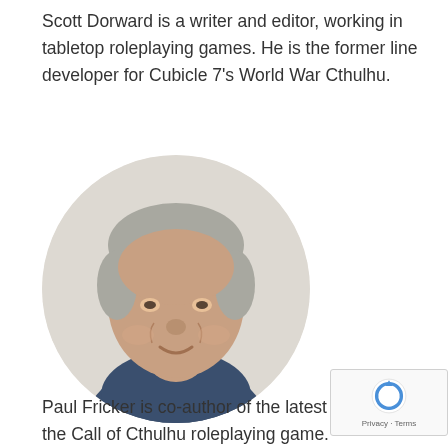Scott Dorward is a writer and editor, working in tabletop roleplaying games. He is the former line developer for Cubicle 7's World War Cthulhu.
[Figure (photo): Circular headshot photo of a middle-aged man with short grey hair, smiling, wearing a dark blue shirt, on a light grey background.]
Paul Fricker is co-author of the latest edition of the Call of Cthulhu roleplaying game.